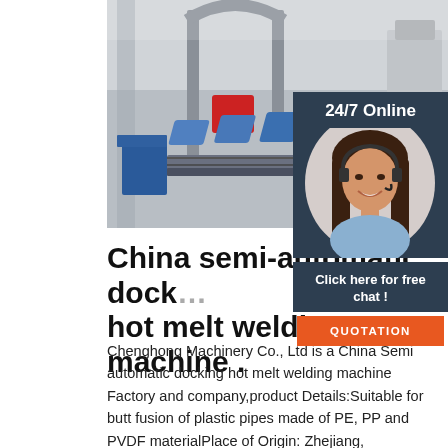[Figure (photo): Industrial factory floor with a large semi-automatic docking hot melt welding machine, blue pipe fittings on a conveyor, and other manufacturing equipment in the background.]
[Figure (photo): Customer service agent - smiling woman with headset on a dark blue panel background, with '24/7 Online' header, 'Click here for free chat!' text, and an orange QUOTATION button.]
China semi-automatic docking hot melt welding machine .
Chenghong Machinery Co., Ltd is a China Semi automatic docking hot melt welding machine Factory and company,product Details:Suitable for butt fusion of plastic pipes made of PE, PP and PVDF materialPlace of Origin: Zhejiang, ChinaUsage: semi-automatic do...